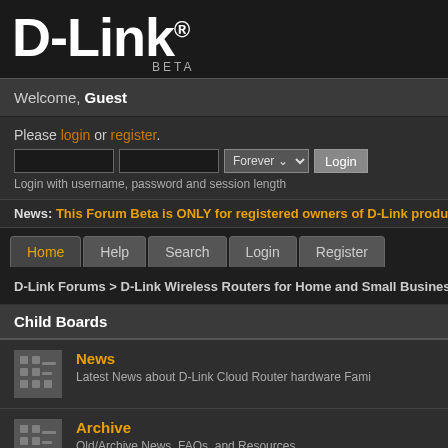[Figure (logo): D-Link logo in white bold text with registered trademark symbol, on dark background, with BETA label below]
Welcome, Guest
Please login or register. Login with username, password and session length
News: This Forum Beta is ONLY for registered owners of D-Link products in th
Home  Help  Search  Login  Register
D-Link Forums > D-Link Wireless Routers for Home and Small Business > Info
Child Boards
News — Latest News about D-Link Cloud Router hardware Fami
Archive — Old/Archive News, FAQs, and Resources — Moderator: FurryNutz
Firmware — Moderator: FurryNutz